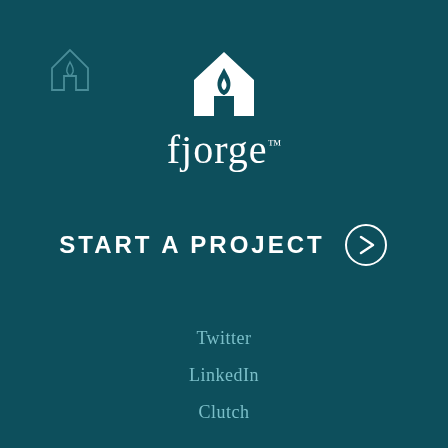[Figure (logo): Small Fjorge house/flame logo outline in top-left corner, teal/transparent style]
[Figure (logo): Fjorge logo: white house with flame icon above the word 'fjorge' with trademark symbol, centered on dark teal background]
START A PROJECT ⊙
Twitter
LinkedIn
Clutch
Blog
Careers